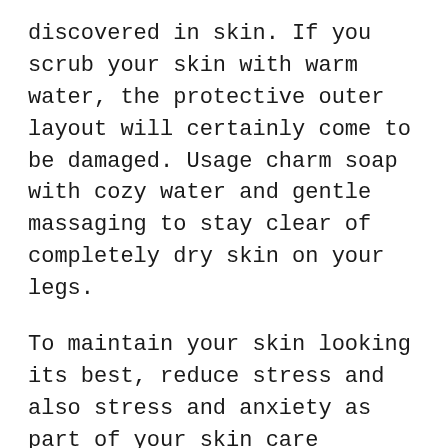discovered in skin. If you scrub your skin with warm water, the protective outer layout will certainly come to be damaged. Usage charm soap with cozy water and gentle massaging to stay clear of completely dry skin on your legs.
To maintain your skin looking its best, reduce stress and also stress and anxiety as part of your skin care regimen. Taking steps to lower and control stress in your day-to-day live can help your skin look alive rather than tired and grey. Unrestrained tension short circuits your skin's all-natural capability to